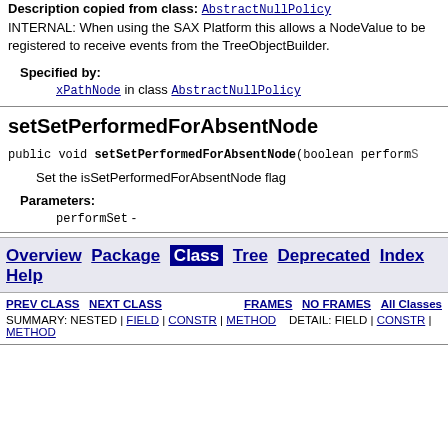Description copied from class: AbstractNullPolicy INTERNAL: When using the SAX Platform this allows a NodeValue to be registered to receive events from the TreeObjectBuilder.
Specified by:
xPathNode in class AbstractNullPolicy
setSetPerformedForAbsentNode
public void setSetPerformedForAbsentNode(boolean performS
Set the isSetPerformedForAbsentNode flag
Parameters:
performSet -
Overview Package Class Tree Deprecated Index Help
PREV CLASS  NEXT CLASS  FRAMES  NO FRAMES  All Classes SUMMARY: NESTED | FIELD | CONSTR | METHOD  DETAIL: FIELD | CONSTR | METHOD